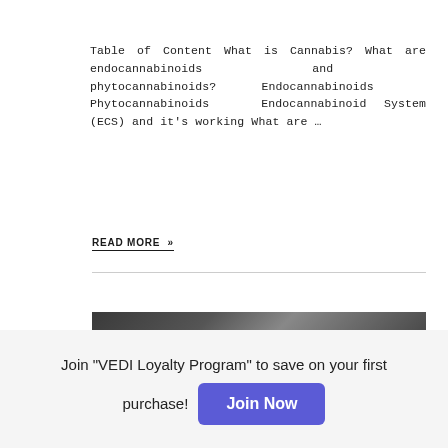Table of Content What is Cannabis? What are endocannabinoids and phytocannabinoids? Endocannabinoids Phytocannabinoids Endocannabinoid System (ECS) and it's working What are …
READ MORE »
[Figure (photo): Dark image strip, partially visible at bottom of content area]
Join "VEDI Loyalty Program" to save on your first purchase!
Join Now